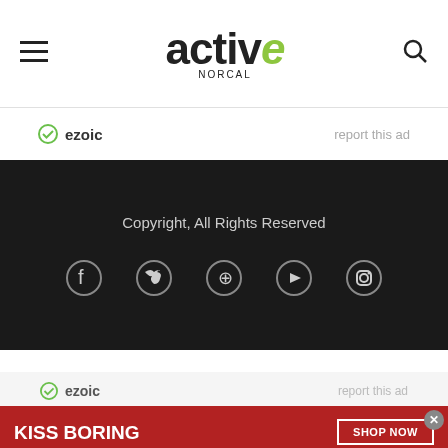active NORCAL
ezoic   report this ad
Copyright, All Rights Reserved
[Figure (illustration): Social media icons: Facebook, Twitter, Pinterest, YouTube, Instagram]
ezoic   report this ad
[Figure (illustration): Macy's advertisement banner: KISS BORING LIPS GOODBYE with SHOP NOW button and Macy's star logo, woman with red lips in background]